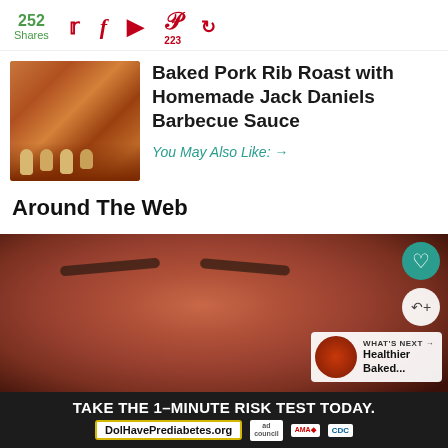252 Shares
Baked Pork Rib Roast with Homemade Jack Daniels Barbecue Sauce
You May Also Like: →
Around The Web
[Figure (photo): Close-up photo of a man's face, eyes visible]
WHAT'S NEXT → Healthier Baked...
TAKE THE 1-MINUTE RISK TEST TODAY. DolHavePrediabetes.org